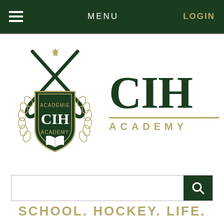MENU   LOGIN
[Figure (logo): CIH Academy crest logo with hockey sticks, maple leaf, laurel wreath, shield with book, text 'ACADÉMIE CIH ACADEMY']
CIH ACADEMY
SCHOOL. HOCKEY. LIFE.